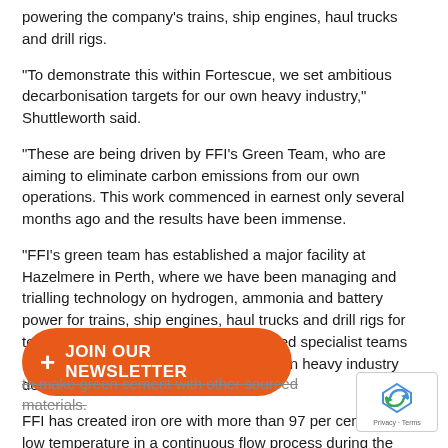powering the company's trains, ship engines, haul trucks and drill rigs.
“To demonstrate this within Fortescue, we set ambitious decarbonisation targets for our own heavy industry,” Shuttleworth said.
“These are being driven by FFI’s Green Team, who are aiming to eliminate carbon emissions from our own operations. This work commenced in earnest only several months ago and the results have been immense.
“FFI’s green team has established a major facility at Hazelmere in Perth, where we have been managing and trialling technology on hydrogen, ammonia and battery power for trains, ship engines, haul trucks and drill rigs for technology demonstration. Our dedicated specialist teams have worked relentlessly to bring our own heavy industry decarbonisation into reality.”
FFI has created iron ore with more than 97 per cent purity at low temperature in a continuous flow process during the initiative.
[Figure (other): Orange 'JOIN OUR NEWSLETTER' button with a plus icon]
to make green cement with other sourced materials.